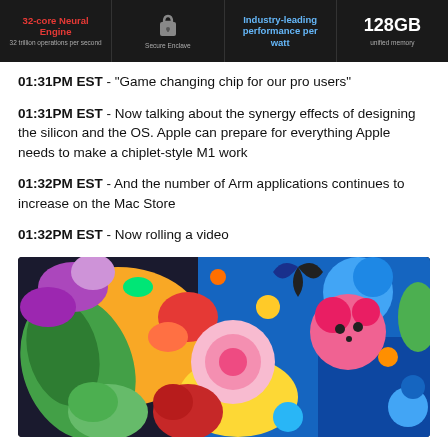[Figure (screenshot): Dark banner showing Apple M1 chip features: 32-core Neural Engine (32 trillion operations per second), Secure Enclave (lock icon), Industry-leading performance per watt, and 128GB unified memory]
01:31PM EST - "Game changing chip for our pro users"
01:31PM EST - Now talking about the synergy effects of designing the silicon and the OS. Apple can prepare for everything Apple needs to make a chiplet-style M1 work
01:32PM EST - And the number of Arm applications continues to increase on the Mac Store
01:32PM EST - Now rolling a video
[Figure (photo): Colorful psychedelic/surreal illustration with flowers, cartoon animal characters, and bright vivid colors on a dark background]